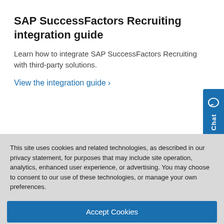SAP SuccessFactors Recruiting integration guide
Learn how to integrate SAP SuccessFactors Recruiting with third-party solutions.
View the integration guide ›
This site uses cookies and related technologies, as described in our privacy statement, for purposes that may include site operation, analytics, enhanced user experience, or advertising. You may choose to consent to our use of these technologies, or manage your own preferences.
Accept Cookies
More Information
Privacy Policy | Powered by: TrustArc